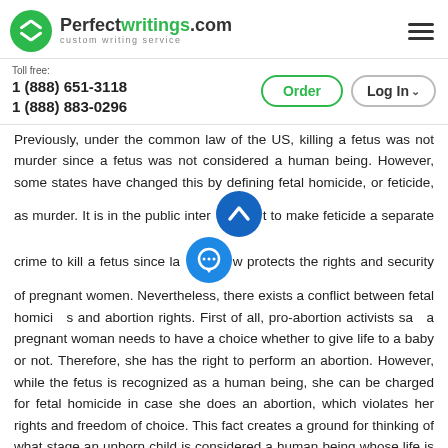Perfectwritings.com — custom writing service
Toll free:
1 (888) 651-3118
1 (888) 883-0296
Previously, under the common law of the US, killing a fetus was not murder since a fetus was not considered a human being. However, some states have changed this by defining fetal homicide, or feticide, as murder. It is in the public interest to make feticide a separate crime to kill a fetus since law protects the rights and security of pregnant women. Nevertheless, there exists a conflict between fetal homicide laws and abortion rights. First of all, pro-abortion activists say that a pregnant woman needs to have a choice whether to give life to a baby or not. Therefore, she has the right to perform an abortion. However, while the fetus is recognized as a human being, she can be charged for fetal homicide in case she does an abortion, which violates her rights and freedom of choice. This fact creates a ground for thinking of what stage an unborn child is considered a human being whose life is protected by the government.